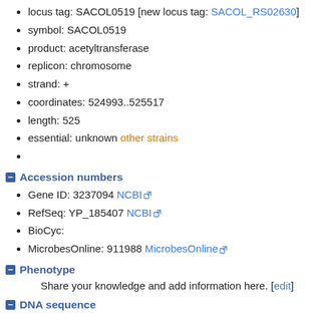locus tag: SACOL0519 [new locus tag: SACOL_RS02630]
symbol: SACOL0519
product: acetyltransferase
replicon: chromosome
strand: +
coordinates: 524993..525517
length: 525
essential: unknown other strains
Accession numbers
Gene ID: 3237094 NCBI
RefSeq: YP_185407 NCBI
BioCyc:
MicrobesOnline: 911988 MicrobesOnline
Phenotype
Share your knowledge and add information here. [edit]
DNA sequence
1
61
121
181
241